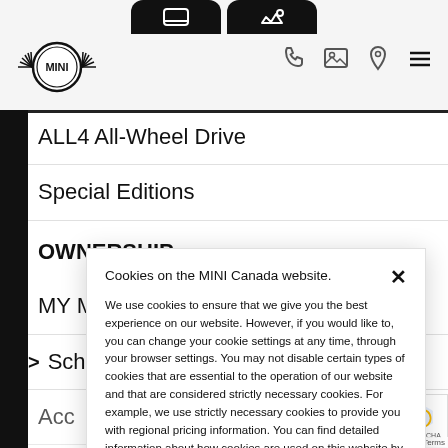[Figure (logo): MINI Cooper winged circle logo]
ALL4 All-Wheel Drive
Special Editions
OWNERSHIP
MY MINI Account
Schedule Service
Acc
MIN
Cookies on the MINI Canada website.

We use cookies to ensure that we give you the best experience on our website. However, if you would like to, you can change your cookie settings at any time, through your browser settings. You may not disable certain types of cookies that are essential to the operation of our website and that are considered strictly necessary cookies. For example, we use strictly necessary cookies to provide you with regional pricing information. You can find detailed information about how cookies are used on this website by clicking here.